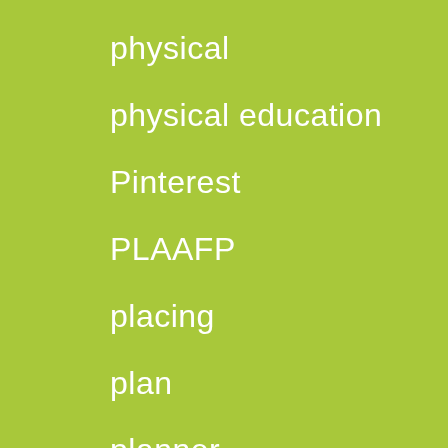physical
physical education
Pinterest
PLAAFP
placing
plan
planner
planning